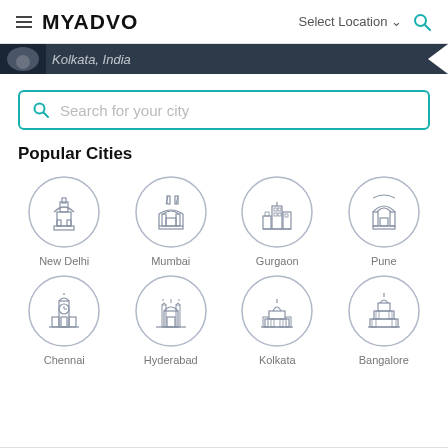MYADVO | Select Location | Search
[Figure (screenshot): Dark navigation bar showing 'Kolkata, India' with a profile image thumbnail on the left and a chevron on the right]
[Figure (screenshot): Search box with teal border and teal search icon, placeholder text 'Search for your city']
Popular Cities
[Figure (illustration): Grid of 8 city icons in circles: New Delhi (India Gate), Mumbai (Gateway of India), Gurgaon (skyline), Pune (arch monument), Chennai (clock tower), Hyderabad (Charminar), Kolkata (Victoria Memorial), Bangalore (Vidhana Soudha)]